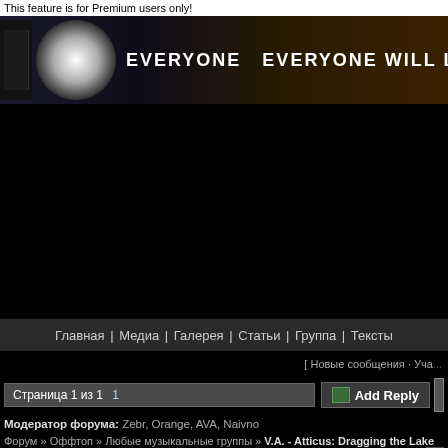This feature is for Premium users only!
[Figure (screenshot): Website banner with circular logo, dark background, text: EVERYONE EVERYONE WILL LISTEN]
[Figure (other): Black advertisement block]
Главная | Медиа | Галерея | Статьи | Группа | Тексты
[ Новые сообщения · Уча...
Страница 1 из 1  1
Add Reply
Модератор форума: Zebr, Orange, AVA, Naivno
Форум » Оффтоп » Любые музыкальные группы » V.A. - Atticus: Dragging the Lake
V.A. - Atticus: Dragging the Lake
kn0xvelle
Дата: Понедельник, 09.03.2009, 11:56 | Сообщение # 1
Компиляция из песен панк-групп отобранных лично Марком Хоппусом